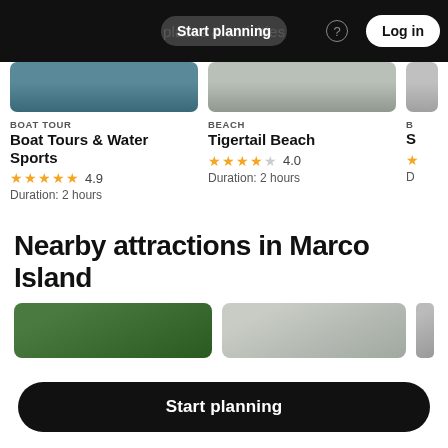Start planning | places & activities | Log in
BOAT TOUR
Boat Tours & Water Sports
★★★★★ 4.9
Duration: 2 hours
BEACH
Tigertail Beach
★★★★☆ 4.0
Duration: 2 hours
Nearby attractions in Marco Island
[Figure (screenshot): Two partially visible attraction images at the bottom of the page]
Start planning